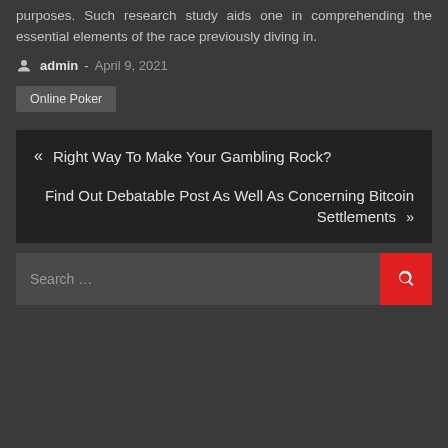purposes. Such research study aids one in comprehending the essential elements of the race previously diving in.
admin - April 9, 2021
Online Poker
« Right Way To Make Your Gambling Rock?
Find Out Debatable Post As Well As Concerning Bitcoin Settlements »
Search …